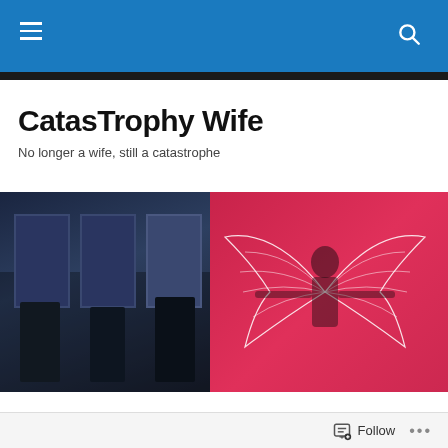Navigation bar with menu and search icons
CatasTrophy Wife
No longer a wife, still a catastrophe
[Figure (photo): Two-panel hero image: left panel shows dark indoor scene with people silhouetted against shop windows; right panel shows woman with outstretched arms and decorative white wings against a bright pink/magenta background]
When You Have Too Many Tomatoes
Okay, so you know how I said I love getting tomatoes from
Follow •••